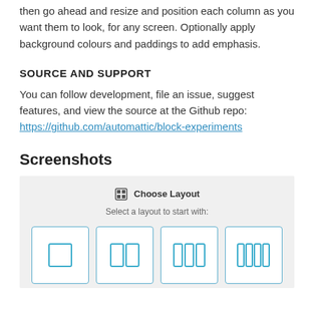then go ahead and resize and position each column as you want them to look, for any screen. Optionally apply background colours and paddings to add emphasis.
SOURCE AND SUPPORT
You can follow development, file an issue, suggest features, and view the source at the Github repo: https://github.com/automattic/block-experiments
Screenshots
[Figure (screenshot): Screenshot of a 'Choose Layout' dialog showing four column layout options (1, 2, 3, 4 columns) represented as icon buttons on a light grey background.]